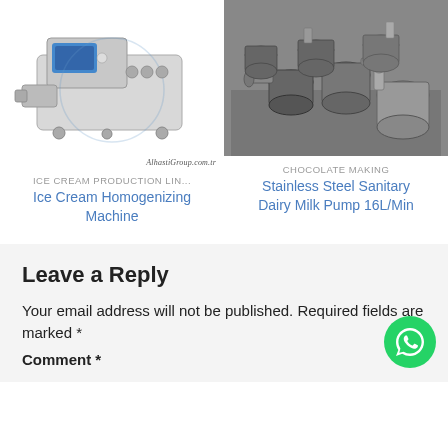[Figure (photo): Ice Cream Homogenizing Machine - industrial equipment, white/silver colored, with blue display panel and base feet, watermark AlhastiGroup.com.tr]
[Figure (photo): Multiple stainless steel sanitary dairy milk pumps arranged in a warehouse/factory setting]
ICE CREAM PRODUCTION LIN...
CHOCOLATE MAKING
Ice Cream Homogenizing Machine
Stainless Steel Sanitary Dairy Milk Pump 16L/Min
Leave a Reply
Your email address will not be published. Required fields are marked *
Comment *